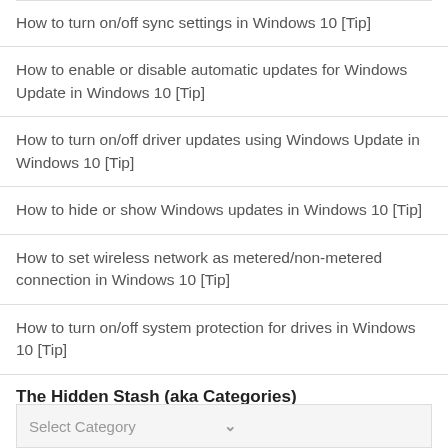How to turn on/off sync settings in Windows 10 [Tip]
How to enable or disable automatic updates for Windows Update in Windows 10 [Tip]
How to turn on/off driver updates using Windows Update in Windows 10 [Tip]
How to hide or show Windows updates in Windows 10 [Tip]
How to set wireless network as metered/non-metered connection in Windows 10 [Tip]
How to turn on/off system protection for drives in Windows 10 [Tip]
The Hidden Stash (aka Categories)